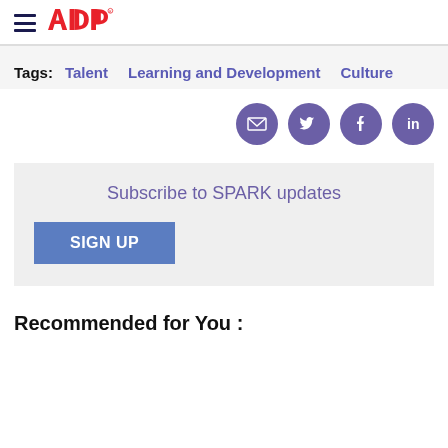ADP logo and navigation
Tags: Talent  Learning and Development  Culture
[Figure (infographic): Four purple circular social media icons: email, Twitter, Facebook, LinkedIn]
Subscribe to SPARK updates
SIGN UP
Recommended for You :